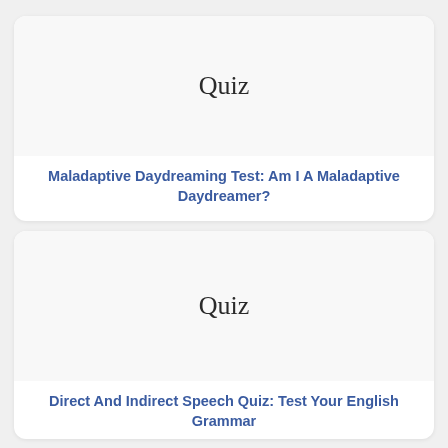[Figure (illustration): Quiz card thumbnail with handwritten-style 'Quiz' label on light background]
Maladaptive Daydreaming Test: Am I A Maladaptive Daydreamer?
[Figure (illustration): Quiz card thumbnail with handwritten-style 'Quiz' label on light background]
Direct And Indirect Speech Quiz: Test Your English Grammar